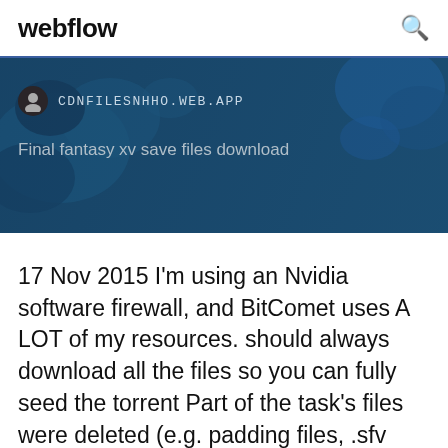webflow
[Figure (screenshot): Hero banner with dark blue background showing a world map silhouette. Contains a circular avatar icon, the URL 'CDNFILESNHHO.WEB.APP' in monospace text, and the subtitle 'Final fantasy xv save files download'.]
17 Nov 2015 I'm using an Nvidia software firewall, and BitComet uses A LOT of my resources. should always download all the files so you can fully seed the torrent Part of the task's files were deleted (e.g. padding files, .sfv files), after  FileBot x64 4.7 download -